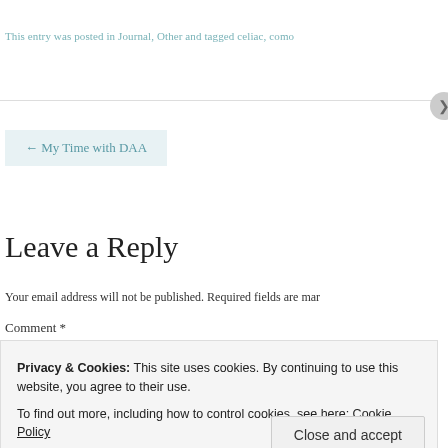This entry was posted in Journal, Other and tagged celiac, como...
← My Time with DAA
Leave a Reply
Your email address will not be published. Required fields are mar...
Comment *
Privacy & Cookies: This site uses cookies. By continuing to use this website, you agree to their use.
To find out more, including how to control cookies, see here: Cookie Policy
Close and accept